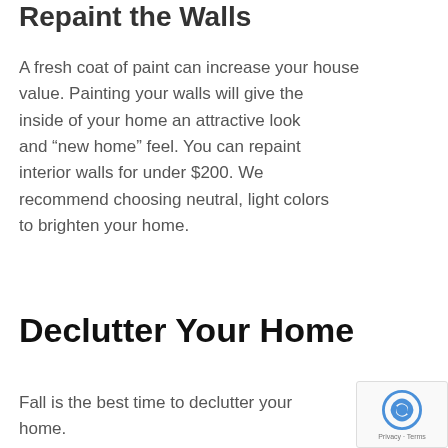Repaint the Walls
A fresh coat of paint can increase your house value. Painting your walls will give the inside of your home an attractive look and “new home” feel. You can repaint interior walls for under $200. We recommend choosing neutral, light colors to brighten your home.
Declutter Your Home
Fall is the best time to declutter your home.